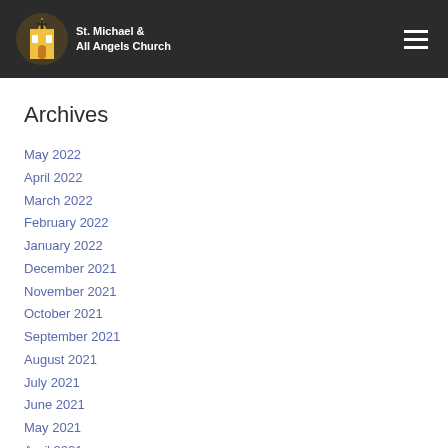St. Michael & All Angels Church
Archives
May 2022
April 2022
March 2022
February 2022
January 2022
December 2021
November 2021
October 2021
September 2021
August 2021
July 2021
June 2021
May 2021
April 2021
March 2021
February 2021
January 2021
December 2020